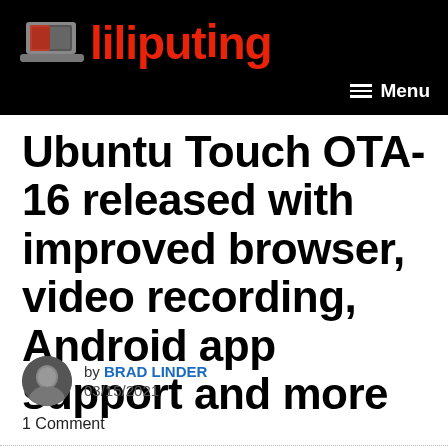Liliputing — Menu
Ubuntu Touch OTA-16 released with improved browser, video recording, Android app support and more
by BRAD LINDER
03/15/2021
1 Comment